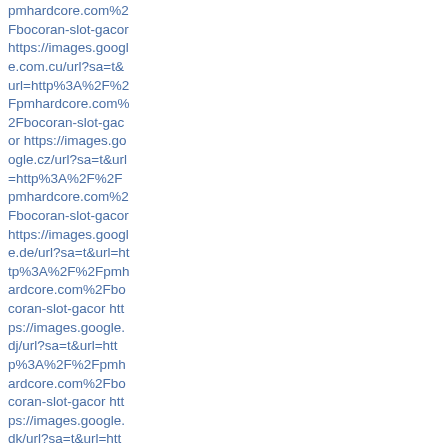pmhardcore.com%2Fbocoran-slot-gacor https://images.google.com.cu/url?sa=t&url=http%3A%2F%2Fpmhardcore.com%2Fbocoran-slot-gacor https://images.google.cz/url?sa=t&url=http%3A%2F%2Fpmhardcore.com%2Fbocoran-slot-gacor https://images.google.de/url?sa=t&url=http%3A%2F%2Fpmhardcore.com%2Fbocoran-slot-gacor https://images.google.dj/url?sa=t&url=http%3A%2F%2Fpmhardcore.com%2Fbocoran-slot-gacor https://images.google.dk/url?sa=t&url=http%3A%2F%2Fpmhardcore.com%2Fbocoran-slot-gacor https://images.google.dm/url?sa=t&url=htt